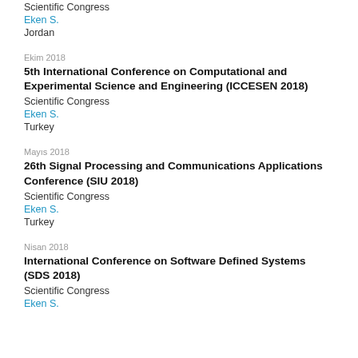Scientific Congress
Eken S.
Jordan
Ekim 2018
5th International Conference on Computational and Experimental Science and Engineering (ICCESEN 2018)
Scientific Congress
Eken S.
Turkey
Mayıs 2018
26th Signal Processing and Communications Applications Conference (SIU 2018)
Scientific Congress
Eken S.
Turkey
Nisan 2018
International Conference on Software Defined Systems (SDS 2018)
Scientific Congress
Eken S.